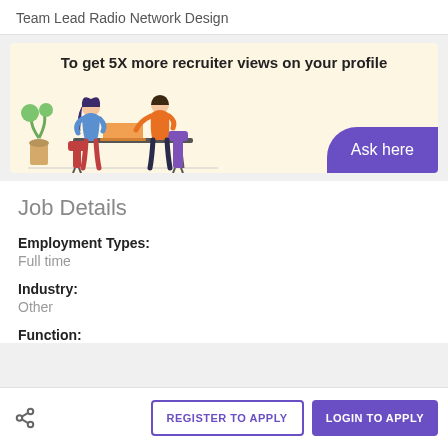Team Lead Radio Network Design
[Figure (illustration): Promotional banner with cream background showing two people sitting at a desk in a meeting, one with a laptop. Text reads 'To get 5X more recruiter views on your profile' with a purple 'Ask here' button in the bottom right corner.]
Job Details
Employment Types:
Full time
Industry:
Other
Function:
REGISTER TO APPLY
LOGIN TO APPLY